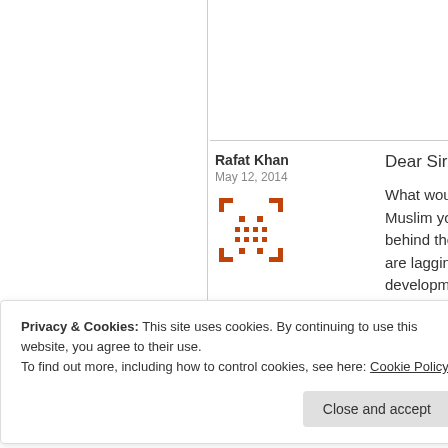Rafat Khan
May 12, 2014
[Figure (illustration): Orange pixelated/geometric avatar icon placeholder, consisting of square dot patterns arranged in a face-like grid pattern]
Dear Sir:
What would be Muslim youths behind the sce are lagging far development w and most of the
Privacy & Cookies: This site uses cookies. By continuing to use this website, you agree to their use.
To find out more, including how to control cookies, see here: Cookie Policy
Close and accept